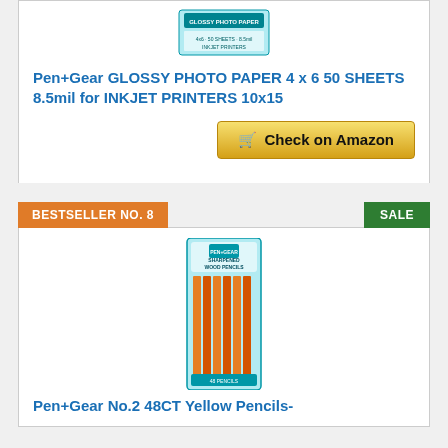[Figure (photo): Pen+Gear Glossy Photo Paper product image]
Pen+Gear GLOSSY PHOTO PAPER 4 x 6 50 SHEETS 8.5mil for INKJET PRINTERS 10x15
Check on Amazon
BESTSELLER NO. 8
SALE
[Figure (photo): Pen+Gear No.2 48CT Yellow Pencils product image]
Pen+Gear No.2 48CT Yellow Pencils-